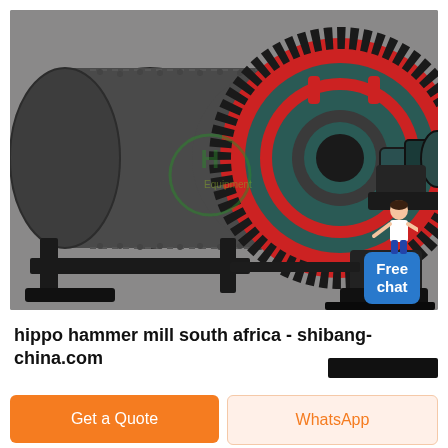[Figure (photo): Industrial ball mill / grinding machine with large red and black toothed gear wheel on right side, cylindrical drum body with dashed outline on left, mounted on heavy black metal frame. Watermark logo visible in center. 'Free chat' widget with illustrated customer service person in top-right corner.]
hippo hammer mill south africa - shibang-china.com
Get a Quote | WhatsApp